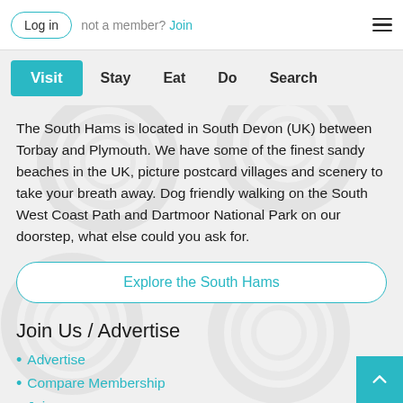Log in   not a member? Join
Visit   Stay   Eat   Do   Search
The South Hams is located in South Devon (UK) between Torbay and Plymouth. We have some of the finest sandy beaches in the UK, picture postcard villages and scenery to take your breath away. Dog friendly walking on the South West Coast Path and Dartmoor National Park on our doorstep, what else could you ask for.
Explore the South Hams
Join Us / Advertise
Advertise
Compare Membership
Join
FAQ
Marketing Material